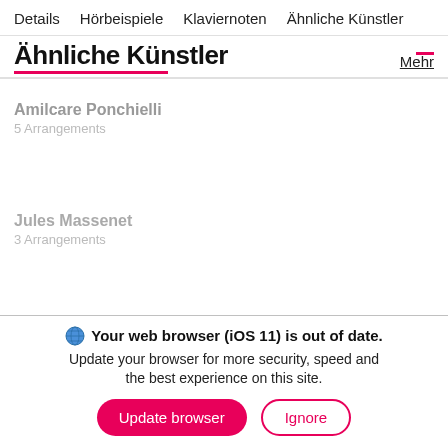Details   Hörbeispiele   Klaviernoten   Ähnliche Künstler
Ähnliche Künstler   Mehr
Amilcare Ponchielli
5 Arrangements
Jules Massenet
3 Arrangements
🌐 Your web browser (iOS 11) is out of date.
Update your browser for more security, speed and the best experience on this site.
Update browser   Ignore